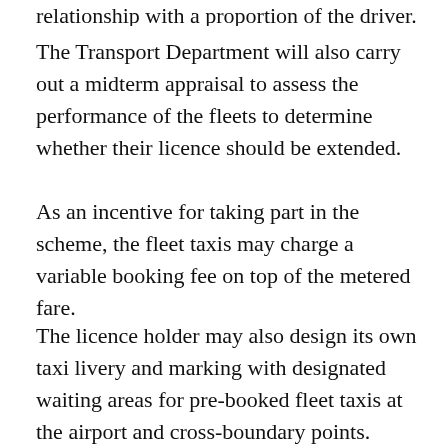relationship with a proportion of the driver.
The Transport Department will also carry out a midterm appraisal to assess the performance of the fleets to determine whether their licence should be extended.
As an incentive for taking part in the scheme, the fleet taxis may charge a variable booking fee on top of the metered fare.
The licence holder may also design its own taxi livery and marking with designated waiting areas for pre-booked fleet taxis at the airport and cross-boundary points.